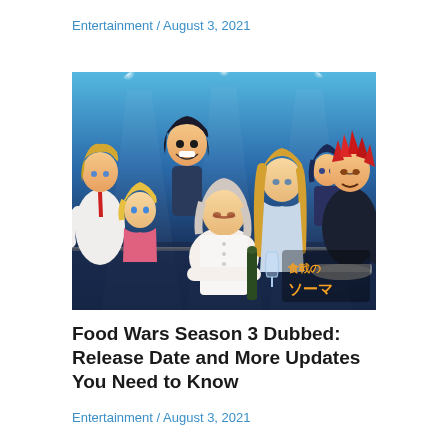Entertainment / August 3, 2021
[Figure (illustration): Anime promotional artwork for Food Wars (Shokugeki no Soma) featuring multiple anime characters including a blonde male character on the left, a dark-haired grinning character, a blonde female character, a central white-haired female character leaning forward, a long blonde-haired female character, a small dark-haired female, and a red-haired male on the right, all set against a blue-lit background with Japanese text logo in bottom right corner]
Food Wars Season 3 Dubbed: Release Date and More Updates You Need to Know
Entertainment / August 3, 2021